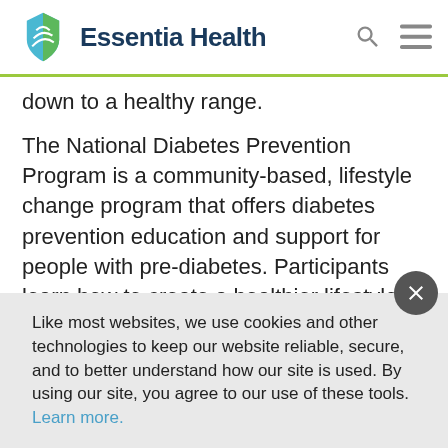Essentia Health
down to a healthy range.
The National Diabetes Prevention Program is a community-based, lifestyle change program that offers diabetes prevention education and support for people with pre-diabetes. Participants learn how to create a healthier lifestyle and prevent diabetes in a 22-session
Like most websites, we use cookies and other technologies to keep our website reliable, secure, and to better understand how our site is used. By using our site, you agree to our use of these tools. Learn more.